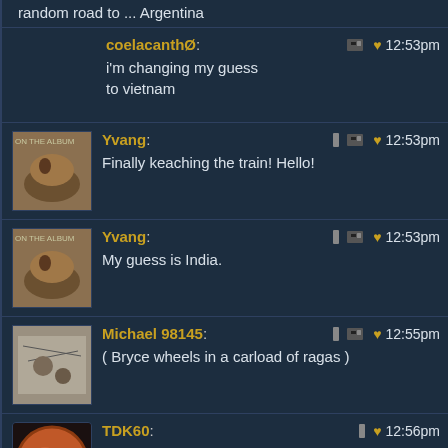random road to ... Argentina
coelacanthØ: i'm changing my guess to vietnam — 12:53pm
Yvang: Finally keaching the train! Hello! — 12:53pm
Yvang: My guess is India. — 12:53pm
Michael 98145: ( Bryce wheels in a carload of ragas ) — 12:55pm
TDK60: I think the list is now:
* Denmark
* Mongolia
* Uruguay
* The Lebanon
* Paraguay
* Iceland
* Georgia or Angola
* Greenland
* Namibia
* Libya
* Togo — 12:56pm